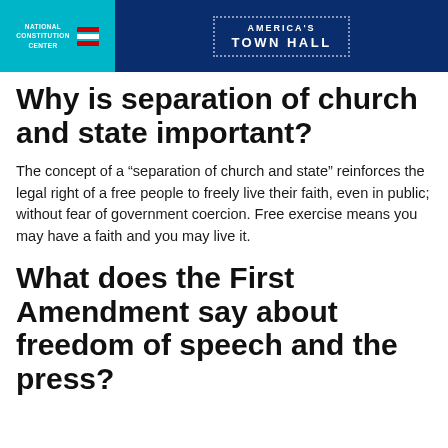National Constitution Center — America's Town Hall
Why is separation of church and state important?
The concept of a “separation of church and state” reinforces the legal right of a free people to freely live their faith, even in public; without fear of government coercion. Free exercise means you may have a faith and you may live it.
What does the First Amendment say about freedom of speech and the press?